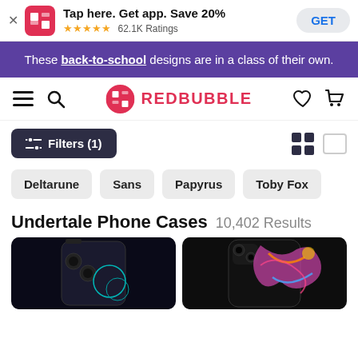[Figure (screenshot): App install banner showing Redbubble app icon, 'Tap here. Get app. Save 20%', 5-star rating, 62.1K Ratings, and GET button]
These back-to-school designs are in a class of their own.
[Figure (logo): Redbubble logo with RB icon and REDBUBBLE wordmark, plus hamburger menu, search, heart, and cart icons]
[Figure (screenshot): Filters (1) button with filter icon on left, and grid/list view toggle icons on right]
Deltarune
Sans
Papyrus
Toby Fox
Undertale Phone Cases  10,402 Results
[Figure (photo): Phone case product image 1: dark phone case with teal circular design on black background]
[Figure (photo): Phone case product image 2: colorful abstract design on phone case]